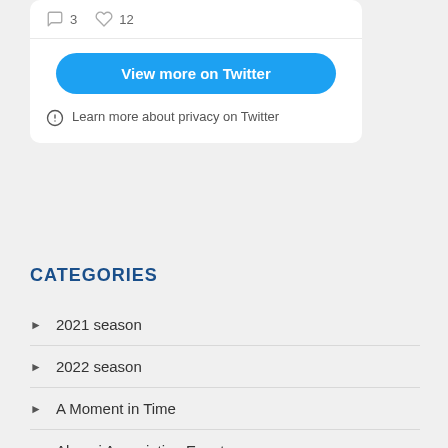3  12
[Figure (screenshot): Twitter widget card showing tweet stats (3 comments, 12 likes), a blue 'View more on Twitter' button, and a privacy info line.]
View more on Twitter
Learn more about privacy on Twitter
CATEGORIES
2021 season
2022 season
A Moment in Time
Alumni Association Events